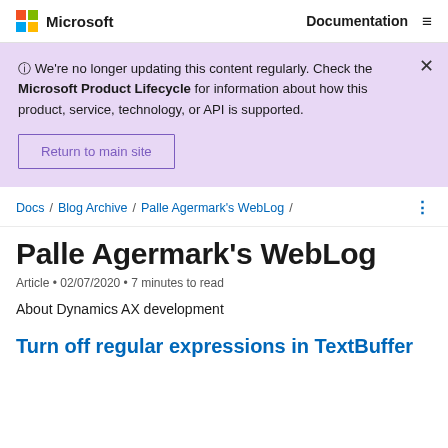Microsoft   Documentation ≡
ⓘ We're no longer updating this content regularly. Check the Microsoft Product Lifecycle for information about how this product, service, technology, or API is supported.
Return to main site
Docs / Blog Archive / Palle Agermark's WebLog /
Palle Agermark's WebLog
Article • 02/07/2020 • 7 minutes to read
About Dynamics AX development
Turn off regular expressions in TextBuffer